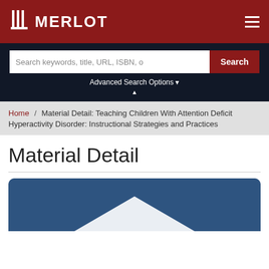MERLOT
Search keywords, title, URL, ISBN, o
Advanced Search Options
Home / Material Detail: Teaching Children With Attention Deficit Hyperactivity Disorder: Instructional Strategies and Practices
Material Detail
[Figure (illustration): Blue rounded card with white chevron/mountain shape at bottom, MERLOT material thumbnail placeholder]